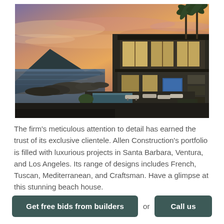[Figure (photo): Aerial dusk/sunset view of a modern beachfront luxury home with large glass windows and two stories, outdoor pool and lounge chairs, rocky shoreline, ocean, mountains in background, palm trees visible.]
The firm's meticulous attention to detail has earned the trust of its exclusive clientele. Allen Construction's portfolio is filled with luxurious projects in Santa Barbara, Ventura, and Los Angeles. Its range of designs includes French, Tuscan, Mediterranean, and Craftsman. Have a glimpse at this stunning beach house.
Get free bids from builders
or
Call us